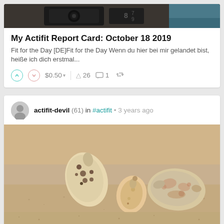[Figure (photo): Top portion of a post card showing a camera/photography equipment image cropped at the top]
My Actifit Report Card: October 18 2019
Fit for the Day [DE]Fit for the Day Wenn du hier bei mir gelandet bist, heiße ich dich erstmal...
$0.50  26  1  (repost icon)
actifit-devil (61) in #actifit • 3 years ago
[Figure (photo): Three sea shells resting on sandy beach, photographed close up]